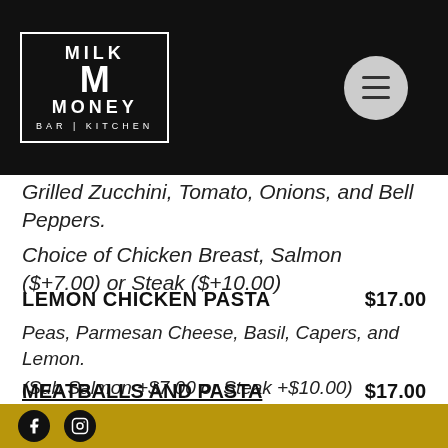[Figure (logo): Milk Money Bar | Kitchen logo in white on black background with a bordered box, and a hamburger menu button (circle) in the top right]
Grilled Zucchini, Tomato, Onions, and Bell Peppers.
Choice of Chicken Breast, Salmon ($+7.00) or Steak ($+10.00)
LEMON CHICKEN PASTA   $17.00
Peas, Parmesan Cheese, Basil, Capers, and Lemon.
(Sub Salmon +$7.00 or Steak +$10.00)
MEATBALLS AND PASTA   $17.00
Facebook and Instagram social media icons